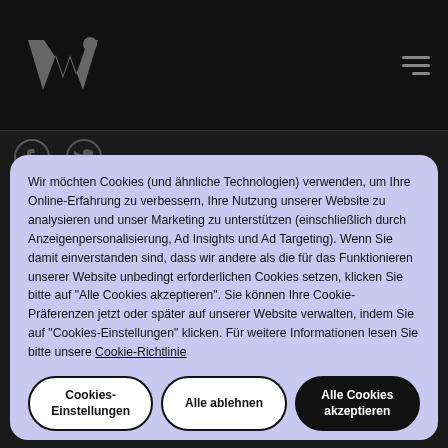[Figure (logo): Warner Music Group stylized W logo in dark grey on black background, top left]
[Figure (illustration): Hamburger menu icon (three horizontal lines) in grey, top right]
[Figure (illustration): Facebook and Twitter social media icons in dark grey]
Wir möchten Cookies (und ähnliche Technologien) verwenden, um Ihre Online-Erfahrung zu verbessern, Ihre Nutzung unserer Website zu analysieren und unser Marketing zu unterstützen (einschließlich durch Anzeigenpersonalisierung, Ad Insights und Ad Targeting). Wenn Sie damit einverstanden sind, dass wir andere als die für das Funktionieren unserer Website unbedingt erforderlichen Cookies setzen, klicken Sie bitte auf "Alle Cookies akzeptieren". Sie können Ihre Cookie-Präferenzen jetzt oder später auf unserer Website verwalten, indem Sie auf "Cookies-Einstellungen" klicken. Für weitere Informationen lesen Sie bitte unsere Cookie-Richtlinie
Cookies-Einstellungen
Alle ablehnen
Alle Cookies akzeptieren